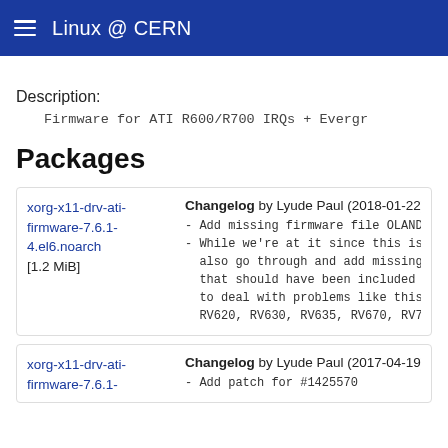Linux @ CERN
Description:
Firmware for ATI R600/R700 IRQs + Evergr
Packages
xorg-x11-drv-ati-firmware-7.6.1-4.el6.noarch [1.2 MiB]
Changelog by Lyude Paul (2018-01-22): - Add missing firmware file OLAND_p - While we're at it since this is t also go through and add missing f that should have been included wh to deal with problems like this i RV620, RV630, RV635, RV670, RV710
xorg-x11-drv-ati-firmware-7.6.1-
Changelog by Lyude Paul (2017-04-19): - Add patch for #1425570